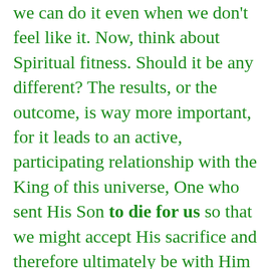we can do it even when we don't feel like it. Now, think about Spiritual fitness. Should it be any different? The results, or the outcome, is way more important, for it leads to an active, participating relationship with the King of this universe, One who sent His Son to die for us so that we might accept His sacrifice and therefore ultimately be with Him in glory one day. Physical fitness helps you condition your bodies to fight off diseases, have less pain and recover much faster from illnesses, and it may extend your life here on earth by a few years. Spiritual fitness opens the doors of heaven for you while here on earth and to life ever after with the Creator. It gives you hope, peace and love here on earth and rewards for eternity that are out of this world! Spiritual fitness is suitable for all walks of life, for those fit enough to do Physical fitness or not. Please don't make excuses Brothers and Sisters. Seek to